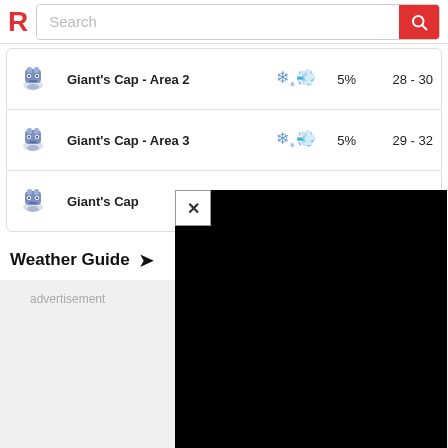Search
|  | Location | Weather | Rate | Levels |
| --- | --- | --- | --- | --- |
| [pokemon] | Giant's Cap - Area 2 | [snow/wind] | 5% | 28 - 30 |
| [pokemon] | Giant's Cap - Area 3 | [snow/wind] | 5% | 29 - 32 |
| [pokemon] | Giant's Cap | [snow/wind] | 5% | 28 - 30 |
Weather Guide →
advertisement
[Figure (screenshot): Black video/ad overlay panel with close (X) button in top-left corner]